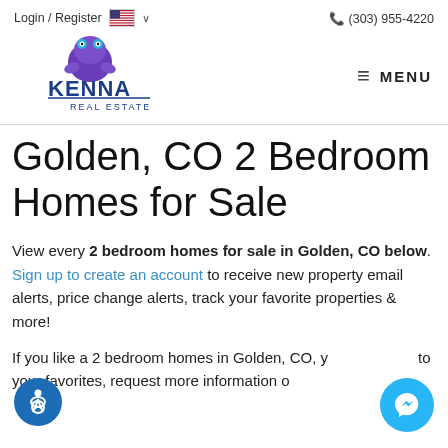Login / Register  🇺🇸 ∨   📞 (303) 955-4220
[Figure (logo): Kenna Real Estate logo with purple frog mascot]
Golden, CO 2 Bedroom Homes for Sale
View every 2 bedroom homes for sale in Golden, CO below. Sign up to create an account to receive new property email alerts, price change alerts, track your favorite properties & more!
If you like a 2 bedroom homes in Golden, CO, you can add it to your favorites, request more information or